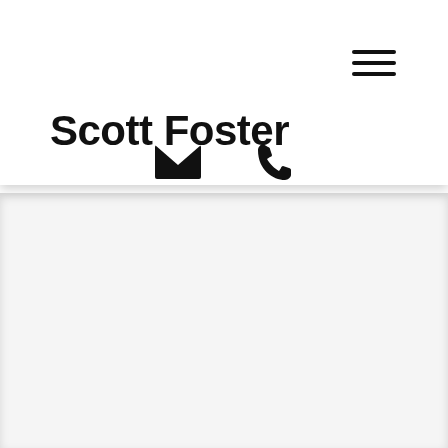Scott Foster
[Figure (illustration): Hamburger menu icon (three horizontal lines) in top right of header]
[Figure (illustration): Email envelope icon and phone handset icon centered below the site title]